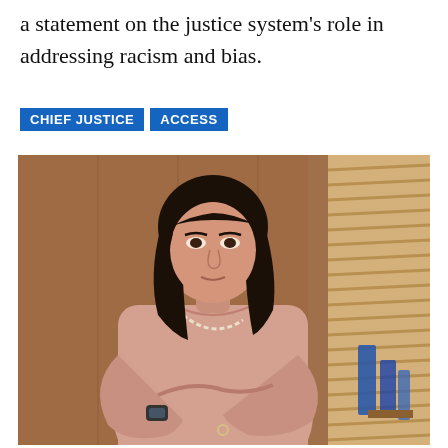a statement on the justice system's role in addressing racism and bias.
CHIEF JUSTICE   ACCESS
[Figure (photo): A middle-aged Asian woman with dark shoulder-length hair, wearing a light beige/blush top and pearl necklace with a smartwatch, arms crossed, standing in front of wooden cabinetry and venetian blinds with blue glassware visible in the background.]